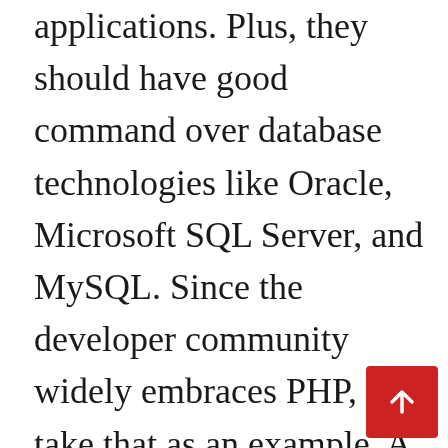applications. Plus, they should have good command over database technologies like Oracle, Microsoft SQL Server, and MySQL. Since the developer community widely embraces PHP, let's take that as an example. A scripting language, PHP, works together with Structured Query Language, or SQL, which is the database from where PHP pulls information out to enter it into an HTML file for display. You can find examples of this process